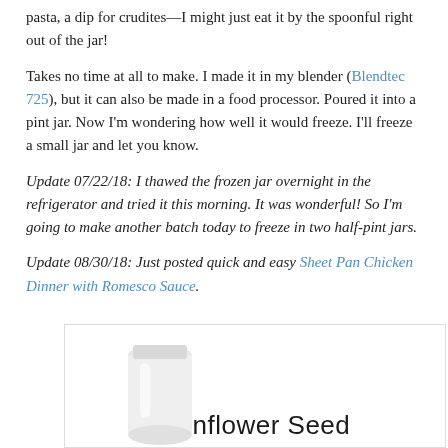pasta, a dip for crudites—I might just eat it by the spoonful right out of the jar!
Takes no time at all to make. I made it in my blender (Blendtec 725), but it can also be made in a food processor. Poured it into a pint jar. Now I'm wondering how well it would freeze. I'll freeze a small jar and let you know.
Update 07/22/18: I thawed the frozen jar overnight in the refrigerator and tried it this morning. It was wonderful! So I'm going to make another batch today to freeze in two half-pint jars.
Update 08/30/18: Just posted quick and easy Sheet Pan Chicken Dinner with Romesco Sauce.
[Figure (photo): Photo of a jar or food item with text 'Sunflower Seed' partially visible at the bottom]